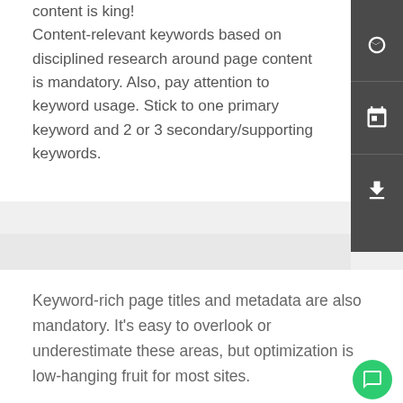content is king! Content-relevant keywords based on disciplined research around page content is mandatory. Also, pay attention to keyword usage. Stick to one primary keyword and 2 or 3 secondary/supporting keywords.
[Figure (other): Dark sidebar with three icons: a camera/refresh icon, a calendar/checklist icon, and a download icon]
Keyword-rich page titles and metadata are also mandatory. It's easy to overlook or underestimate these areas, but optimization is low-hanging fruit for most sites.
Lean code and semantically structured